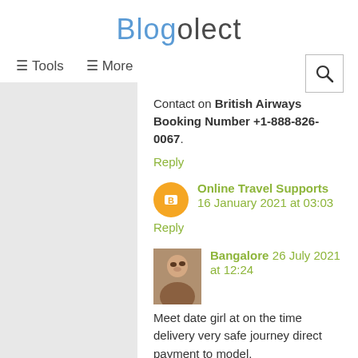Blogolect
≡ Tools   ≡ More
Contact on British Airways Booking Number +1-888-826-0067.
Reply
Online Travel Supports  16 January 2021 at 03:03
Reply
Bangalore  26 July 2021 at 12:24
Meet date girl at on the time delivery very safe journey direct payment to model.